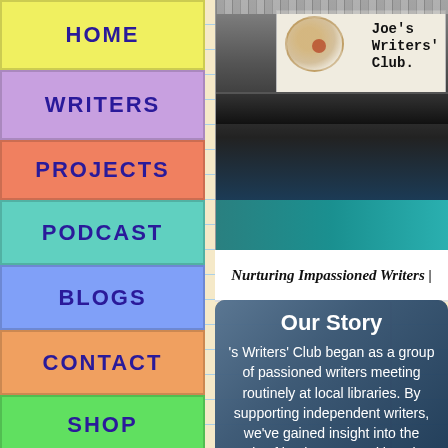[Figure (screenshot): Joe's Writers' Club website screenshot showing navigation sidebar, typewriter header image, tagline, and Our Story section]
HOME
WRITERS
PROJECTS
PODCAST
BLOGS
CONTACT
SHOP
Joe's Writers' Club.
Nurturing Impassioned Writers |
Our Story
's Writers' Club began as a group of passioned writers meeting routinely at local libraries. By supporting independent writers, we've gained insight into the needs of businesses and how best to maximize their message. We provide excellent service in publishing and marketing for